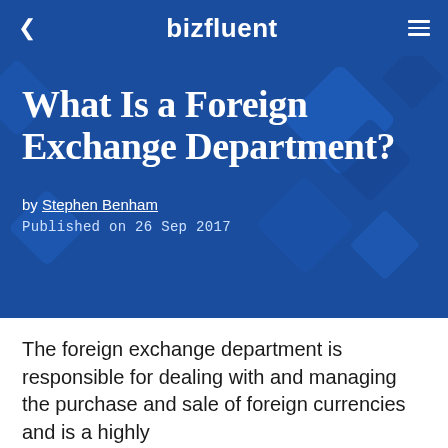bizfluent
What Is a Foreign Exchange Department?
by Stephen Benham
Published on 26 Sep 2017
The foreign exchange department is responsible for dealing with and managing the purchase and sale of foreign currencies and is a highly specialized business. All banks have a...